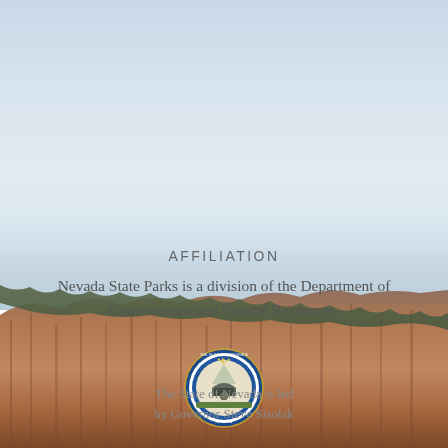[Figure (photo): Background photo of red/orange rock cliffs and formations with pale blue-grey sky, with green treeline at horizon. Nevada desert landscape.]
AFFILIATION
Nevada State Parks is a division of the Department of Conservation and Natural Resources.
[Figure (logo): Circular seal of the State of Nevada with blue border and interior imagery]
The State of Nevada is led by Governor Steve Sisolak